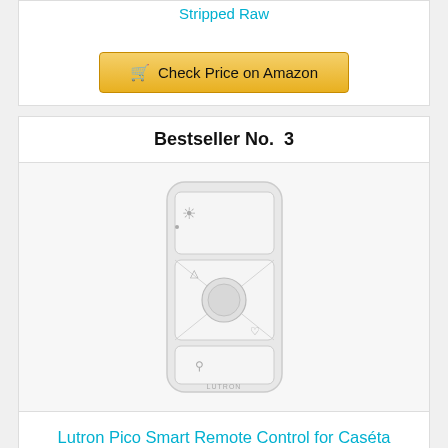Stripped Raw
Check Price on Amazon
Bestseller No. 3
[Figure (photo): Lutron Pico Smart Remote Control device, white, rectangular with three buttons and a center dial/circle, showing icons for light, up arrow, favorite, and down arrow. Brand name LUTRON at bottom.]
Lutron Pico Smart Remote Control for Caséta Smart Dimmer Switch | PJ2-3BRL-WH-L01R | White
Check Price on Amazon